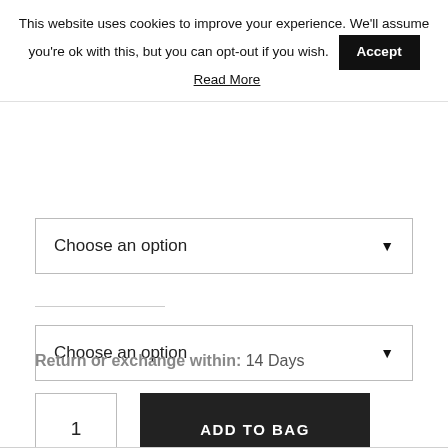This website uses cookies to improve your experience. We'll assume you're ok with this, but you can opt-out if you wish. Accept Read More
Choose an option
Choose an option
Return or exchange within: 14 Days
1
ADD TO BAG